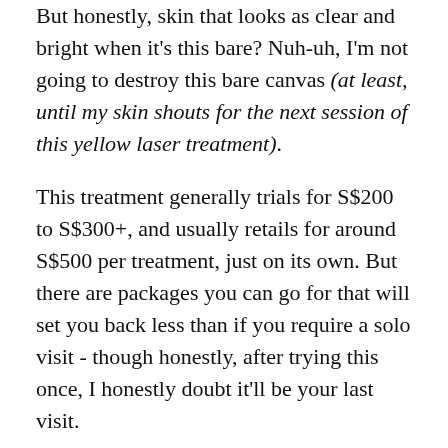But honestly, skin that looks as clear and bright when it's this bare? Nuh-uh, I'm not going to destroy this bare canvas (at least, until my skin shouts for the next session of this yellow laser treatment).
This treatment generally trials for S$200 to S$300+, and usually retails for around S$500 per treatment, just on its own. But there are packages you can go for that will set you back less than if you require a solo visit - though honestly, after trying this once, I honestly doubt it'll be your last visit.
You can also visit www.idsskincare.com for more about their products or www.idsaesthetics.com if you wish to know more about their treatment, as well as to book an appointment with their aesthetics doctor who will be able to guide you on the median of your skin.